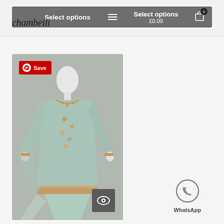[Figure (screenshot): Website header with chambeili logo on left and two 'Select options' buttons. Right button shows £0.00 price. Menu hamburger icon and shopping bag icon with badge showing 0.]
[Figure (photo): A light mint green Pakistani traditional outfit (shalwar kameez with dupatta) on a white headless mannequin. The outfit features gold embroidery/embellishments at the neckline, hem, and cuffs. A Pinterest Save button is shown top-left and an eye/view icon bottom-right.]
[Figure (logo): WhatsApp icon (circular chat bubble with phone) and 'WhatsApp' text label below it, shown in grey/outline style.]